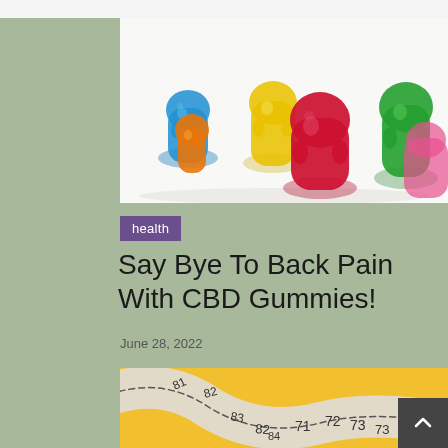[Figure (photo): Colorful gummy bears in blue, orange, yellow, red, green, and pink arranged on a white background]
health
Say Bye To Back Pain With CBD Gummies!
June 28, 2022
[Figure (photo): A white measuring tape curled on a yellow background with white pills/tablets visible at the bottom left]